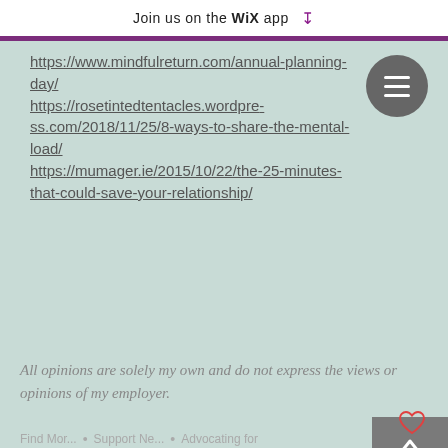Join us on the WiX app ↓
https://www.mindfulreturn.com/annual-planning-day/
https://rosetintedtentacles.wordpress.com/2018/11/25/8-ways-to-share-the-mental-load/
https://mumager.ie/2015/10/22/the-25-minutes-that-could-save-your-relationship/
All opinions are solely my own and do not express the views or opinions of my employer.
Find Mor... • Support Ne... • Advocating for